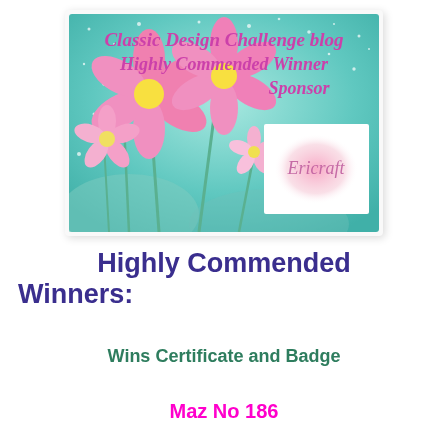[Figure (illustration): Badge image for Classic Design Challenge blog Highly Commended Winner Sponsor - Ericraft, with pink flowers on teal/aqua background and white box with Ericraft logo]
Highly Commended Winners:
Wins Certificate and Badge
Maz No 186